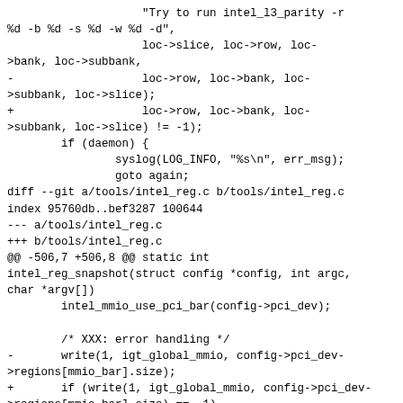"Try to run intel_l3_parity -r %d -b %d -s %d -w %d -d",
                    loc->slice, loc->row, loc->bank, loc->subbank,
-                   loc->row, loc->bank, loc->subbank, loc->slice);
+                   loc->row, loc->bank, loc->subbank, loc->slice) != -1);
        if (daemon) {
                syslog(LOG_INFO, "%s\n", err_msg);
                goto again;
diff --git a/tools/intel_reg.c b/tools/intel_reg.c
index 95760db..bef3287 100644
--- a/tools/intel_reg.c
+++ b/tools/intel_reg.c
@@ -506,7 +506,8 @@ static int intel_reg_snapshot(struct config *config, int argc,
char *argv[])
        intel_mmio_use_pci_bar(config->pci_dev);

        /* XXX: error handling */
-       write(1, igt_global_mmio, config->pci_dev->regions[mmio_bar].size);
+       if (write(1, igt_global_mmio, config->pci_dev->regions[mmio_bar].size) == -1)
+               fprintf(stderr, "Error writing snapshot: %s", strerror(errno));

        if (config->verbosity > 0)
                printf("use this with --mmio=FILE --